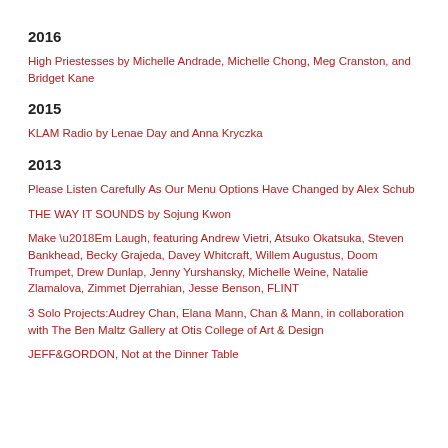2016
High Priestesses by Michelle Andrade, Michelle Chong, Meg Cranston, and Bridget Kane
2015
KLAM Radio by Lenae Day and Anna Kryczka
2013
Please Listen Carefully As Our Menu Options Have Changed by Alex Schub
THE WAY IT SOUNDS by Sojung Kwon
Make ‘Em Laugh, featuring Andrew Vietri, Atsuko Okatsuka, Steven Bankhead, Becky Grajeda, Davey Whitcraft, Willem Augustus, Doom Trumpet, Drew Dunlap, Jenny Yurshansky, Michelle Weine, Natalie Zlamalova, Zimmet Djerrahian, Jesse Benson, FLINT
3 Solo Projects:Audrey Chan, Elana Mann, Chan & Mann, in collaboration with The Ben Maltz Gallery at Otis College of Art & Design
JEFF&GORDON, Not at the Dinner Table